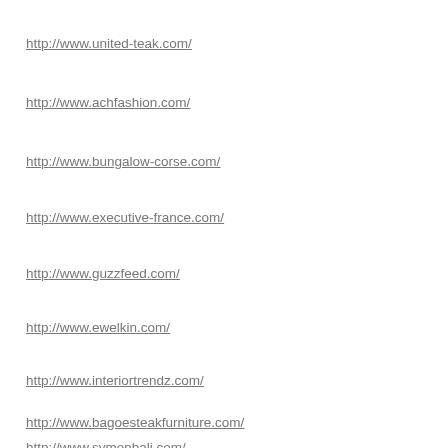http://www.united-teak.com/
http://www.achfashion.com/
http://www.bungalow-corse.com/
http://www.executive-france.com/
http://www.guzzfeed.com/
http://www.ewelkin.com/
http://www.interiortrendz.com/
http://www.bagoesteakfurniture.com/
http://www.symonbali.com/